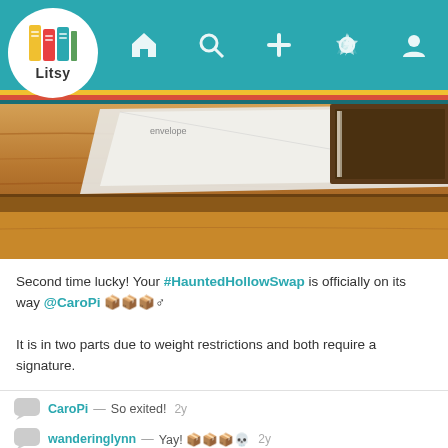[Figure (screenshot): Litsy app navigation bar with logo, home, search, add, notifications, and profile icons on teal background]
[Figure (photo): Close-up photo of packages/envelope on a wooden surface, suggesting mailed items]
Second time lucky! Your #HauntedHollowSwap is officially on its way @CaroPi 📦📦📦♂

It is in two parts due to weight restrictions and both require a signature.

@wanderinglynn
CaroPi — So exited!  2y
wanderinglynn — Yay! 📦📦📦💀  2y